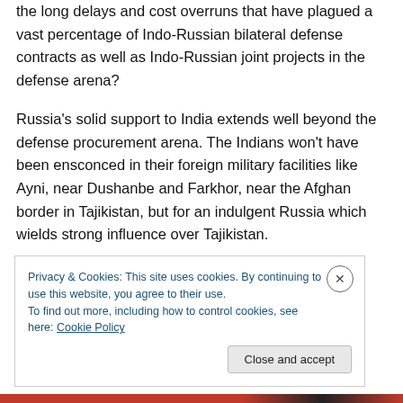the long delays and cost overruns that have plagued a vast percentage of Indo-Russian bilateral defense contracts as well as Indo-Russian joint projects in the defense arena?
Russia's solid support to India extends well beyond the defense procurement arena. The Indians won't have been ensconced in their foreign military facilities like Ayni, near Dushanbe and Farkhor, near the Afghan border in Tajikistan, but for an indulgent Russia which wields strong influence over Tajikistan.
Privacy & Cookies: This site uses cookies. By continuing to use this website, you agree to their use. To find out more, including how to control cookies, see here: Cookie Policy